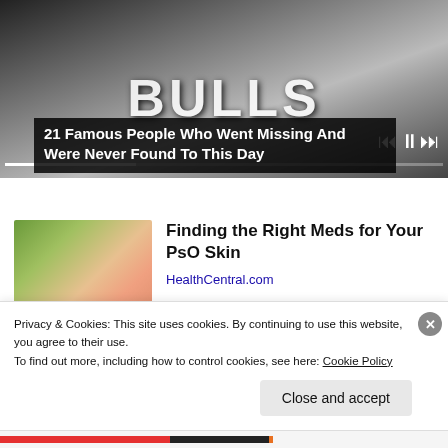[Figure (screenshot): Black and white photo of a person wearing a Chicago Bulls basketball jersey, with media player controls and progress bar overlay at the bottom]
21 Famous People Who Went Missing And Were Never Found To This Day
[Figure (photo): Close-up photo of a hand holding something small, with green and skin-tone background, advertisement image]
Finding the Right Meds for Your PsO Skin
HealthCentral.com
Privacy & Cookies: This site uses cookies. By continuing to use this website, you agree to their use.
To find out more, including how to control cookies, see here: Cookie Policy
Close and accept